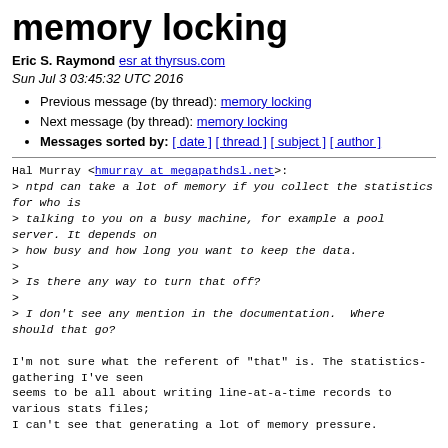memory locking
Eric S. Raymond esr at thyrsus.com
Sun Jul 3 03:45:32 UTC 2016
Previous message (by thread): memory locking
Next message (by thread): memory locking
Messages sorted by: [ date ] [ thread ] [ subject ] [ author ]
Hal Murray <hmurray at megapathdsl.net>:
> ntpd can take a lot of memory if you collect the statistics for who is
> talking to you on a busy machine, for example a pool server. It depends on
> how busy and how long you want to keep the data.
>
> Is there any way to turn that off?
>
> I don't see any mention in the documentation.  Where should that go?

I'm not sure what the referent of "that" is. The statistics-gathering I've seen
seems to be all about writing line-at-a-time records to various stats files;
I can't see that generating a lot of memory pressure.